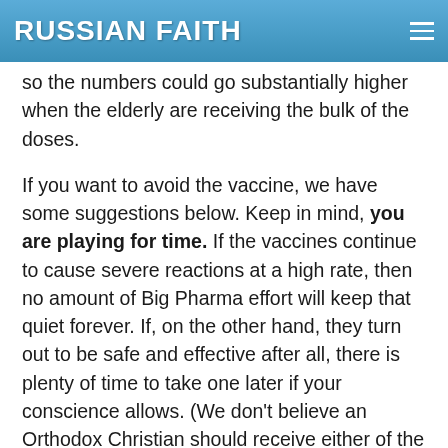RUSSIAN FAITH
so the numbers could go substantially higher when the elderly are receiving the bulk of the doses.
If you want to avoid the vaccine, we have some suggestions below. Keep in mind, you are playing for time. If the vaccines continue to cause severe reactions at a high rate, then no amount of Big Pharma effort will keep that quiet forever. If, on the other hand, they turn out to be safe and effective after all, there is plenty of time to take one later if your conscience allows. (We don’t believe an Orthodox Christian should receive either of the two most common vaccines for moral reasons, but you have a spiritual father